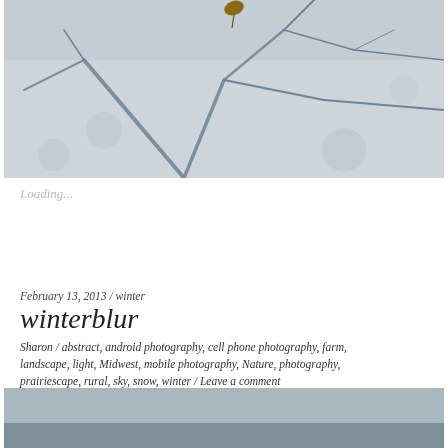[Figure (photo): Close-up of a dry leaf hanging on a branch with shadows of bare branches cast on snow below, in cold blue-grey tones]
Loading...
February 13, 2013 / winter
winterblur
Sharon / abstract, android photography, cell phone photography, farm, landscape, light, Midwest, mobile photography, Nature, photography, prairiescape, rural, sky, snow, winter / Leave a comment
[Figure (photo): Landscape photo showing a flat horizon under a grey-blue sky, winter prairie scene]